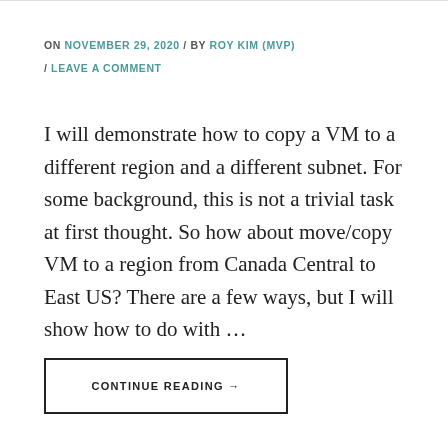ON NOVEMBER 29, 2020 / BY ROY KIM (MVP) / LEAVE A COMMENT
I will demonstrate how to copy a VM to a different region and a different subnet. For some background, this is not a trivial task at first thought. So how about move/copy VM to a region from Canada Central to East US? There are a few ways, but I will show how to do with …
CONTINUE READING →